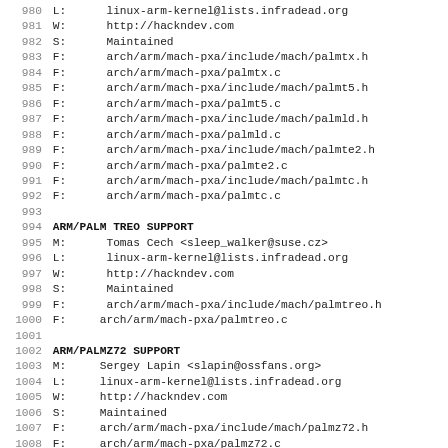980 L:      linux-arm-kernel@lists.infradead.org
981 W:      http://hackndev.com
982 S:      Maintained
983 F:      arch/arm/mach-pxa/include/mach/palmtx.h
984 F:      arch/arm/mach-pxa/palmtx.c
985 F:      arch/arm/mach-pxa/include/mach/palmt5.h
986 F:      arch/arm/mach-pxa/palmt5.c
987 F:      arch/arm/mach-pxa/include/mach/palmld.h
988 F:      arch/arm/mach-pxa/palmld.c
989 F:      arch/arm/mach-pxa/include/mach/palmte2.h
990 F:      arch/arm/mach-pxa/palmte2.c
991 F:      arch/arm/mach-pxa/include/mach/palmtc.h
992 F:      arch/arm/mach-pxa/palmtc.c
993
994 ARM/PALM TREO SUPPORT
995 M:      Tomas Cech <sleep_walker@suse.cz>
996 L:      linux-arm-kernel@lists.infradead.org
997 W:      http://hackndev.com
998 S:      Maintained
999 F:      arch/arm/mach-pxa/include/mach/palmtreo.h
1000 F:     arch/arm/mach-pxa/palmtreo.c
1001
1002 ARM/PALMZ72 SUPPORT
1003 M:     Sergey Lapin <slapin@ossfans.org>
1004 L:     linux-arm-kernel@lists.infradead.org
1005 W:     http://hackndev.com
1006 S:     Maintained
1007 F:     arch/arm/mach-pxa/include/mach/palmz72.h
1008 F:     arch/arm/mach-pxa/palmz72.c
1009
1010 ARM/PLEB SUPPORT
1011 M:     Peter Chubb <pleb@gelato.unsw.edu.au>